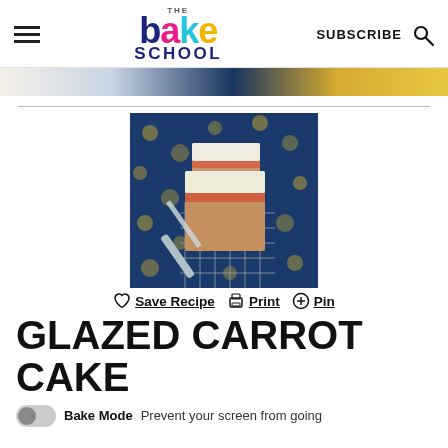the bake school — SUBSCRIBE
[Figure (photo): Partial view of baked goods on a navy blue floral background, banner strip at top of page]
[Figure (photo): Glazed carrot cake slices on a wire rack over a navy blue floral cloth, with a butter knife visible]
♡ Save Recipe  🖨 Print  ⊕ Pin
GLAZED CARROT CAKE
Bake Mode   Prevent your screen from going